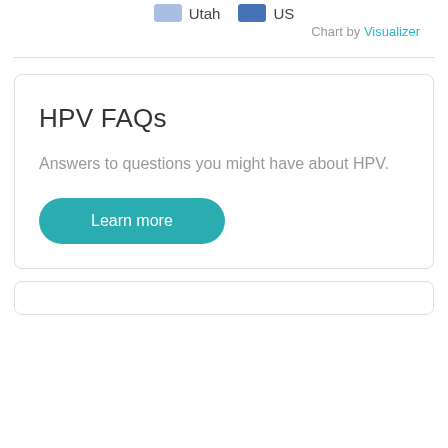[Figure (other): Chart legend showing Utah (light blue swatch) and US (dark blue swatch) labels]
Chart by Visualizer
HPV FAQs
Answers to questions you might have about HPV.
Learn more